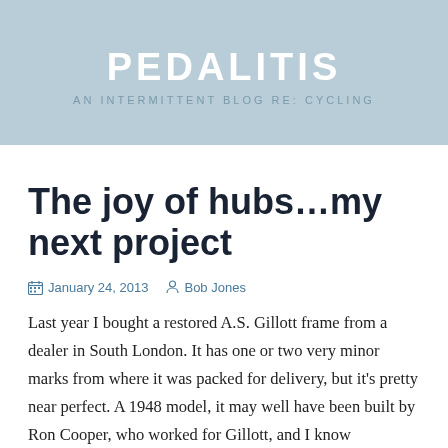PEDALITIS
AN INTERMITTENT BLOG RE: CYCLING
The joy of hubs…my next project
January 24, 2013   Bob Jones
Last year I bought a restored A.S. Gillott frame from a dealer in South London. It has one or two very minor marks from where it was packed for delivery, but it's pretty near perfect. A 1948 model, it may well have been built by Ron Cooper, who worked for Gillott, and I know